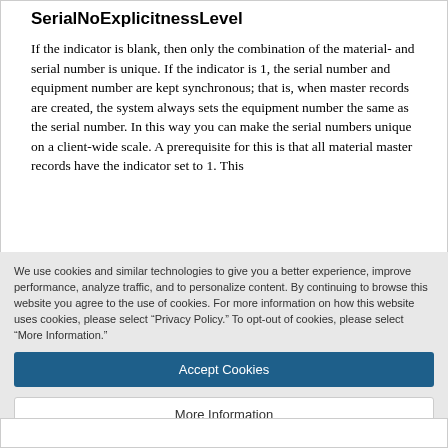SerialNoExplicitnessLevel
If the indicator is blank, then only the combination of the material- and serial number is unique. If the indicator is 1, the serial number and equipment number are kept synchronous; that is, when master records are created, the system always sets the equipment number the same as the serial number. In this way you can make the serial numbers unique on a client-wide scale. A prerequisite for this is that all material master records have the indicator set to 1. This
We use cookies and similar technologies to give you a better experience, improve performance, analyze traffic, and to personalize content. By continuing to browse this website you agree to the use of cookies. For more information on how this website uses cookies, please select “Privacy Policy.” To opt-out of cookies, please select “More Information.”
Accept Cookies
More Information
Privacy Policy | Powered by: TrustArc